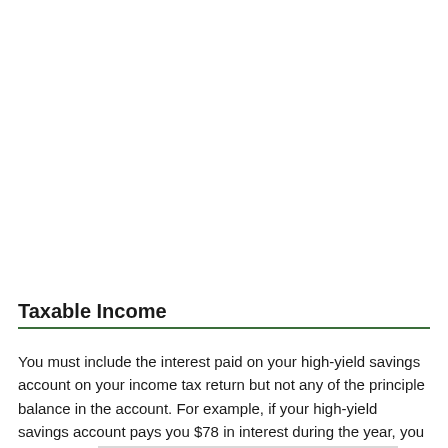Taxable Income
You must include the interest paid on your high-yield savings account on your income tax return but not any of the principle balance in the account. For example, if your high-yield savings account pays you $78 in interest during the year, you must report that amount of interest income on your taxes. This holds true even if you don't take the money out of the account, because once it's paid